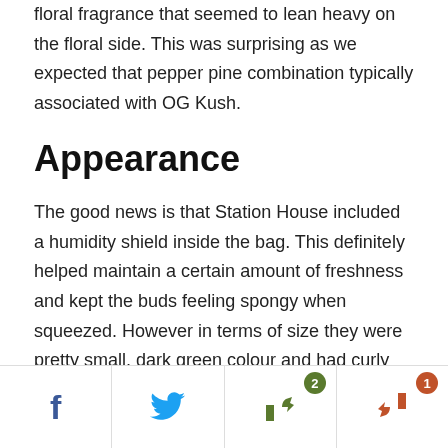floral fragrance that seemed to lean heavy on the floral side. This was surprising as we expected that pepper pine combination typically associated with OG Kush.
Appearance
The good news is that Station House included a humidity shield inside the bag. This definitely helped maintain a certain amount of freshness and kept the buds feeling spongy when squeezed. However in terms of size they were pretty small, dark green colour and had curly brown hairs. On the down side of things we found a decent amount had excess leaf and a few long
Facebook share | Twitter share | Thumbs up (2) | Thumbs down (1)